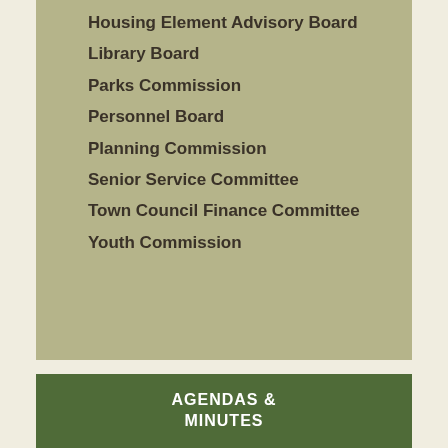Housing Element Advisory Board
Library Board
Parks Commission
Personnel Board
Planning Commission
Senior Service Committee
Town Council Finance Committee
Youth Commission
AGENDAS & MINUTES